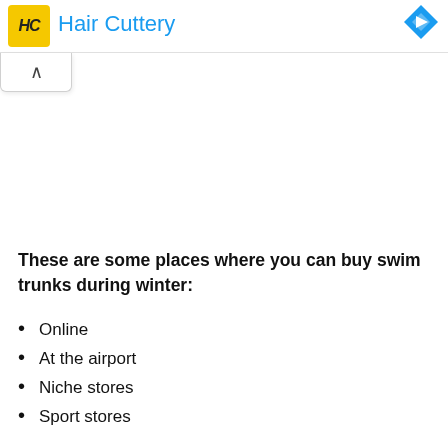[Figure (logo): Hair Cuttery advertisement banner with yellow HC logo and blue text, plus navigation diamond icon]
These are some places where you can buy swim trunks during winter:
Online
At the airport
Niche stores
Sport stores